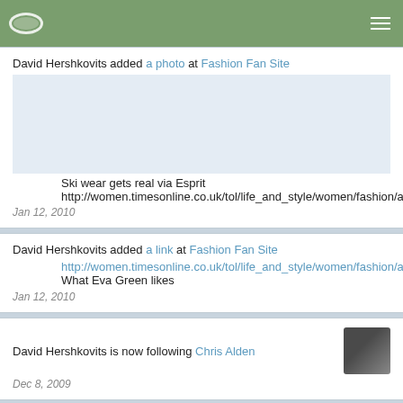Navigation bar with logo and menu
David Hershkovits added a photo at Fashion Fan Site
[Figure (photo): Photo placeholder image area, light blue-grey background]
Ski wear gets real via Esprit http://women.timesonline.co.uk/tol/life_and_style/women/fashion/article6985175.ece
Jan 12, 2010
David Hershkovits added a link at Fashion Fan Site
http://women.timesonline.co.uk/tol/life_and_style/women/fashion/article6985080.ece What Eva Green likes
Jan 12, 2010
David Hershkovits is now following Chris Alden
Dec 8, 2009
David Hershkovits is now following Michael Sippey